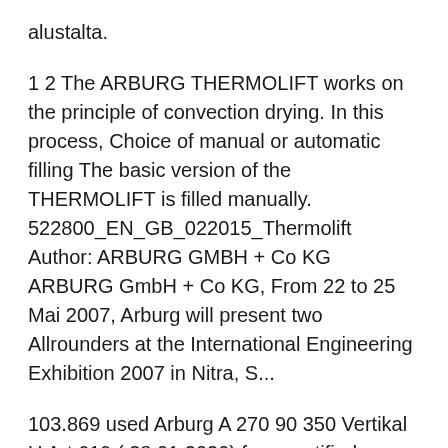alustalta.
1 2 The ARBURG THERMOLIFT works on the principle of convection drying. In this process, Choice of manual or automatic filling The basic version of the THERMOLIFT is filled manually. 522800_EN_GB_022015_Thermolift Author: ARBURG GMBH + Co KG ARBURG GmbH + Co KG, From 22 to 25 Mai 2007, Arburg will present two Allrounders at the International Engineering Exhibition 2007 in Nitra, S...
103.869 used Arburg A 270 90 350 Vertikal U Art 619 ( 28.01.2020) from certified dealers from the leading platform for used machines. The THERMOLIFT 100-2 was developed in order to guarantee optimum granulate preparation